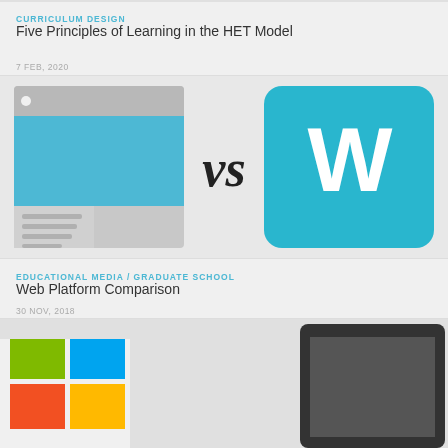CURRICULUM DESIGN
Five Principles of Learning in the HET Model
7 FEB, 2020
[Figure (illustration): A comparison graphic showing a generic website mockup icon on the left versus the Weebly 'W' logo on a teal square on the right, with 'vs' text in stylized script in the center, all on a light gray background.]
EDUCATIONAL MEDIA / GRADUATE SCHOOL
Web Platform Comparison
30 NOV, 2018
[Figure (illustration): Partial view of another article's thumbnail image at the bottom of the page, showing colorful graphic elements.]